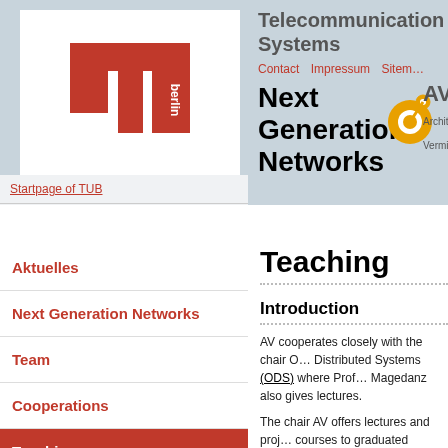[Figure (logo): TU Berlin red logo with 'berlin' text]
Startpage of TUB
Electrical Engineering and Computer Science
Department of Telecommunication Systems
Telecommunication Systems
Contact   Impressum   Sitem…
Next Generation Networks
[Figure (logo): AV logo with orange circular graphic and AV text]
Aktuelles
Next Generation Networks
Team
Cooperations
Teaching
5th Generation Mobile Networks (5G): SS
5G Evolution/6G Project: WS+SS
Theses
Teaching
Introduction
AV cooperates closely with the chair O… Distributed Systems (ODS) where Prof… Magedanz also gives lectures.
The chair AV offers lectures and proj… courses to graduated students aiming… their Diploma or Master in the fields of electrical engineering, computer scien… technical computer science…